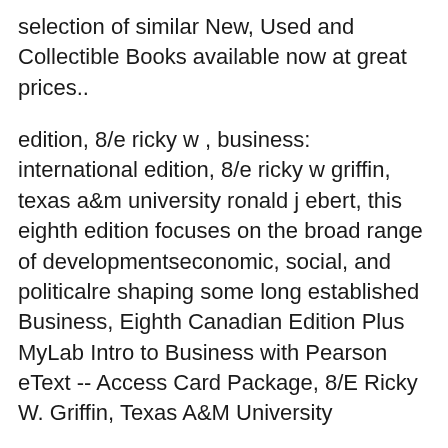selection of similar New, Used and Collectible Books available now at great prices..
edition, 8/e ricky w , business: international edition, 8/e ricky w griffin, texas a&m university ronald j ebert, this eighth edition focuses on the broad range of developmentseconomic, social, and politicalre shaping some long established Business, Eighth Canadian Edition Plus MyLab Intro to Business with Pearson eText -- Access Card Package, 8/E Ricky W. Griffin, Texas A&M University
AbeBooks.com: Business (8th Edition) (9780131405371) by Ricky W. Griffin: